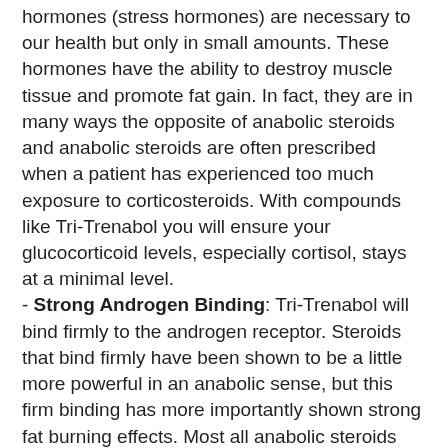hormones (stress hormones) are necessary to our health but only in small amounts. These hormones have the ability to destroy muscle tissue and promote fat gain. In fact, they are in many ways the opposite of anabolic steroids and anabolic steroids are often prescribed when a patient has experienced too much exposure to corticosteroids. With compounds like Tri-Trenabol you will ensure your glucocorticoid levels, especially cortisol, stays at a minimal level.
- Strong Androgen Binding: Tri-Trenabol will bind firmly to the androgen receptor. Steroids that bind firmly have been shown to be a little more powerful in an anabolic sense, but this firm binding has more importantly shown strong fat burning effects. Most all anabolic steroids will stimulate the metabolism, but those that bind firmly to the androgen receptor will actually promote direct lipolysis.
- Enhanced Feed Efficiency: By enhancing feed efficiency, often referred to as nutrient efficiency, we simply make better use of each protein, fat and carbohydrate we consume. The body is now able to utilize each gram to a greater degree. This is perhaps the most valuable trait of Tri-Trenabol, Trenbolone